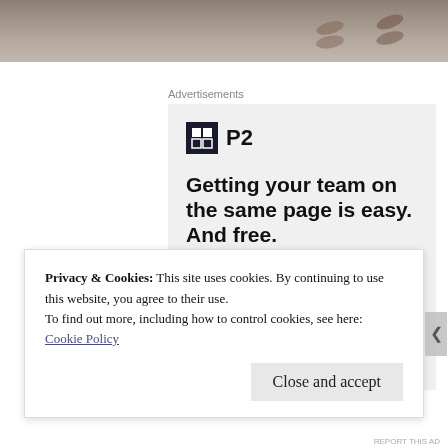[Figure (photo): Photo strip at top showing feet/sandals on a concrete surface, partial view cropped at bottom of image]
Advertisements
[Figure (screenshot): P2 advertisement in a grey box. Shows P2 logo (black square icon with grid pattern and text P2) and bold tagline: Getting your team on the same page is easy. And free. Below are circular avatar photos of team members and a blue plus button.]
Privacy & Cookies: This site uses cookies. By continuing to use this website, you agree to their use.
To find out more, including how to control cookies, see here:
Cookie Policy
Close and accept